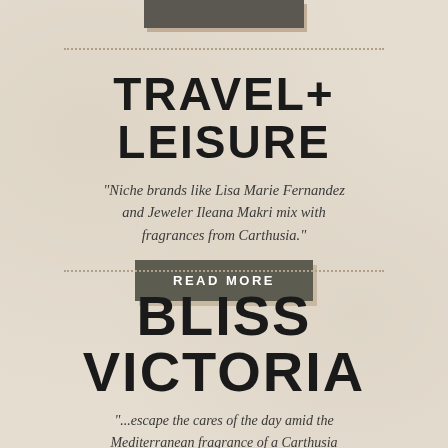[Figure (other): Dark rectangular image/logo at top of page]
TRAVEL+ LEISURE
"Niche brands like Lisa Marie Fernandez and Jeweler Ileana Makri mix with fragrances from Carthusia."
READ MORE
BLISS VICTORIA
"...escape the cares of the day amid the Mediterranean fragrance of a Carthusia diffuser and candle."